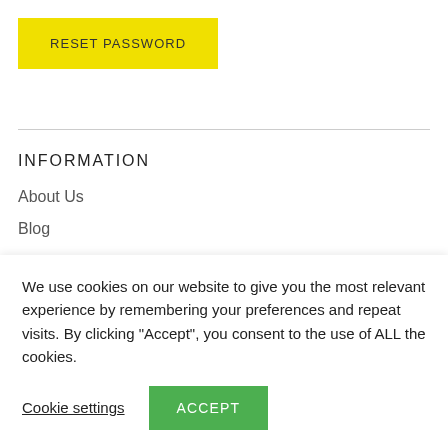RESET PASSWORD
INFORMATION
About Us
Blog
We use cookies on our website to give you the most relevant experience by remembering your preferences and repeat visits. By clicking "Accept", you consent to the use of ALL the cookies.
Cookie settings
ACCEPT